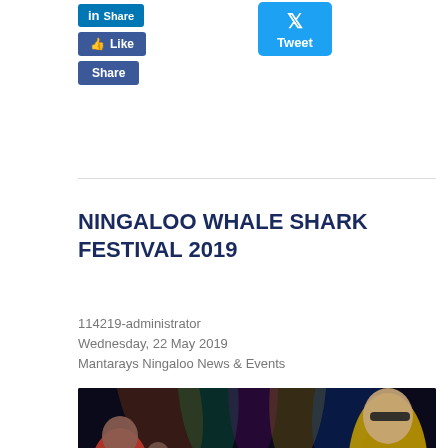[Figure (screenshot): Social media sharing buttons: LinkedIn Share button (top, partially visible), Facebook Like button, Facebook Share button, and Twitter Tweet button]
NINGALOO WHALE SHARK FESTIVAL 2019
114219-administrator
Wednesday, 22 May 2019
Mantarays Ningaloo News & Events
[Figure (photo): Ningaloo Whale Shark Festival 2019 promotional banner with performers in colorful costumes against a dark stage background with colorful lights, featuring the circular Ningaloo logo and festival text]